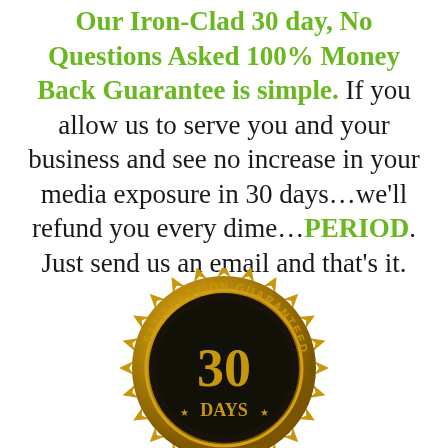Our Iron-Clad 30 day, No Questions Asked 100% Money Back Guarantee is simple. If you allow us to serve you and your business and see no increase in your media exposure in 30 days…we'll refund you every dime…PERIOD. Just send us an email and that's it.
[Figure (illustration): Gold satisfaction guaranteed badge/seal with '30 DAYS' text in the center on a dark background, surrounded by a gold starburst border with 'SATISFACTION GUARANTEED' text around the ring.]